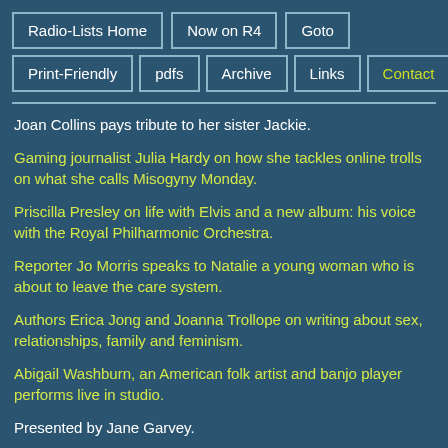Radio-Lists Home
Now on R4
Goto
Print-Friendly
pdfs
Archive
Links
Contact
Joan Collins pays tribute to her sister Jackie.
Gaming journalist Julia Hardy on how she tackles online trolls on what she calls Misogyny Monday.
Priscilla Presley on life with Elvis and a new album: his voice with the Royal Philharmonic Orchestra.
Reporter Jo Morris speaks to Natalie a young woman who is about to leave the care system.
Authors Erica Jong and Joanna Trollope on writing about sex, relationships, family and feminism.
Abigail Washburn, an American folk artist and banjo player performs live in studio.
Presented by Jane Garvey.